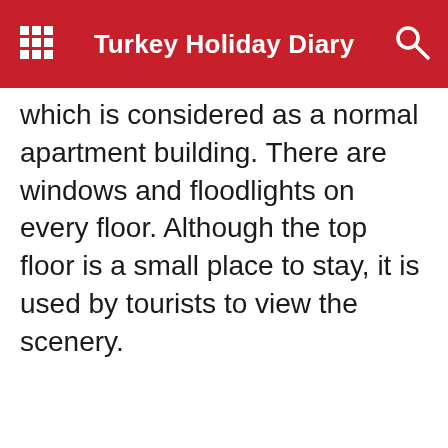Turkey Holiday Diary
which is considered as a normal apartment building. There are windows and floodlights on every floor. Although the top floor is a small place to stay, it is used by tourists to view the scenery.